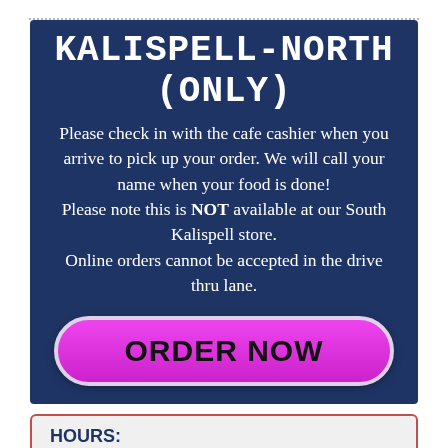KALISPELL-NORTH (ONLY)
Please check in with the cafe cashier when you arrive to pick up your order. We will call your name when your food is done! Please note this is NOT available at our South Kalispell store. Online orders cannot be accepted in the drive thru lane.
[Figure (other): Magenta pill-shaped button with bold black text reading ORDER NOW]
HOURS:
EVERYDAY
11:00AM-8:00PM